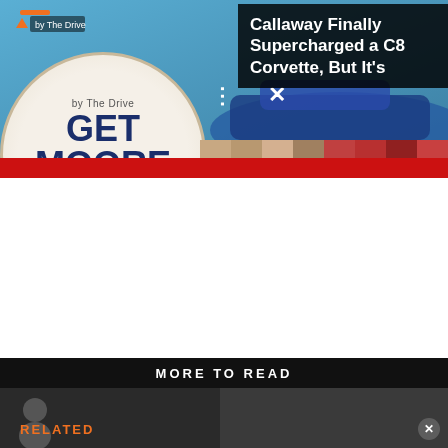[Figure (screenshot): Webpage screenshot showing a video player with a paint advertisement overlay (GET MOORE EVERY TIME YOU PAINT, ACE Hardware), a Callaway C8 Corvette article popup in top right, a red banner ad overlay, video controls, and color swatches bar]
Callaway Finally Supercharged a C8 Corvette, But It's
+ KARGO AD
MORE TO READ
RELATED